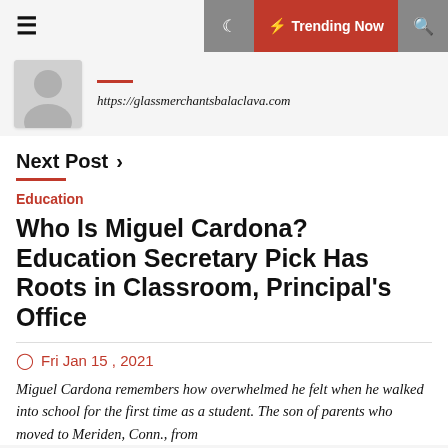≡  🌙  ⚡ Trending Now  🔍
https://glassmerchantsbalaclava.com
Next Post ›
Education
Who Is Miguel Cardona? Education Secretary Pick Has Roots in Classroom, Principal's Office
Fri Jan 15 , 2021
Miguel Cardona remembers how overwhelmed he felt when he walked into school for the first time as a student. The son of parents who moved to Meriden, Conn., from